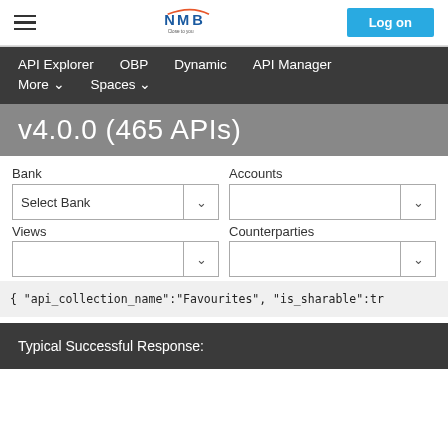NMB | Log on
API Explorer   OBP   Dynamic   API Manager   More ∨   Spaces ∨
v4.0.0 (465 APIs)
Bank
Accounts
Select Bank
Views
Counterparties
{ "api_collection_name":"Favourites", "is_sharable":tr
Typical Successful Response: